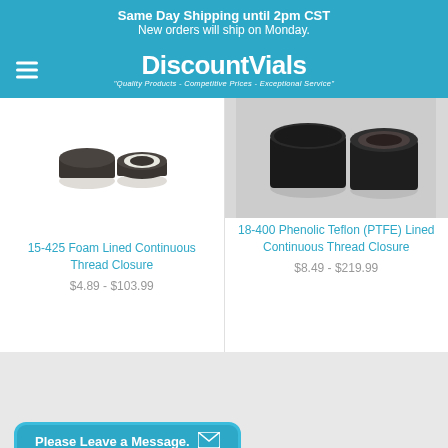Same Day Shipping until 2pm CST
New orders will ship on Monday.
[Figure (logo): DiscountVials logo with tagline 'Quality Products - Competitive Prices - Exceptional Service']
[Figure (photo): Two dark gray screw caps - one solid, one showing white foam liner ring - for 15-425 vials]
15-425 Foam Lined Continuous Thread Closure
$4.89 - $103.99
[Figure (photo): Two black screw caps - one solid cylindrical, one showing inner view - for 18-400 vials]
18-400 Phenolic Teflon (PTFE) Lined Continuous Thread Closure
$8.49 - $219.99
Please Leave a Message.